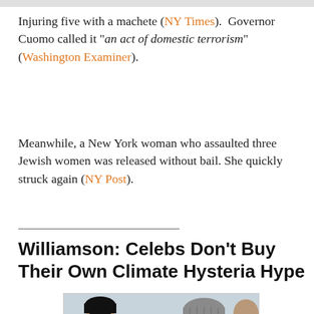Injuring five with a machete (NY Times).  Governor Cuomo called it "an act of domestic terrorism" (Washington Examiner).
Meanwhile, a New York woman who assaulted three Jewish women was released without bail. She quickly struck again (NY Post).
Williamson: Celebs Don't Buy Their Own Climate Hysteria Hype
[Figure (photo): Two people wearing winter hats and scarves outdoors in cold weather, one on phone, one wearing a grey beanie.]